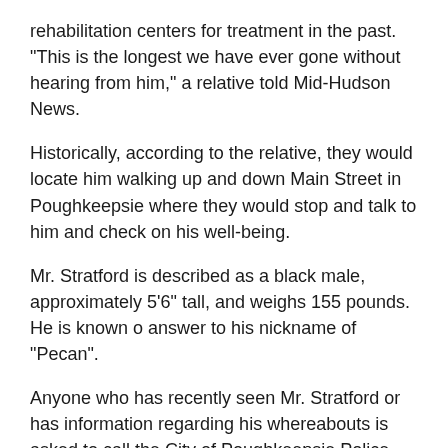rehabilitation centers for treatment in the past.  "This is the longest we have ever gone without hearing from him," a relative told Mid-Hudson News.
Historically, according to the relative, they would locate him walking up and down Main Street in Poughkeepsie where they would stop and talk to him and check on his well-being.
Mr. Stratford is described as a black male, approximately 5'6" tall, and weighs 155 pounds.  He is known o answer to his nickname of "Pecan".
Anyone who has recently seen Mr. Stratford or has information regarding his whereabouts is asked to call the City of Poughkeepsie Police Department at 845-451-4000 and reference file number 2022-19049.